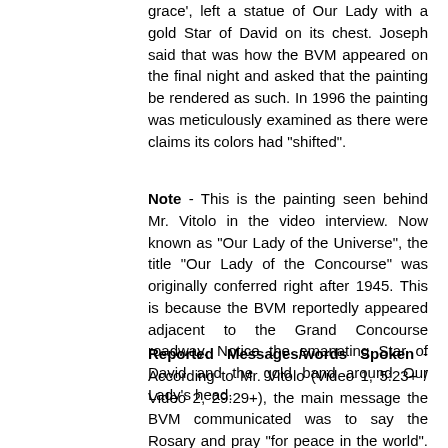grace', left a statue of Our Lady with a gold Star of David on its chest. Joseph said that was how the BVM appeared on the final night and asked that the painting be rendered as such. In 1996 the painting was meticulously examined as there were claims its colors had "shifted".
Note - This is the painting seen behind Mr. Vitolo in the video interview. Now known as "Our Lady of the Universe", the title "Our Lady of the Concourse" was originally conferred right after 1945. This is because the BVM reportedly appeared adjacent to the Grand Concourse roadway. Notice the emanating Star of David and the gold band around Our Lady's head.
Reported Messages/words Spoken - According to Mr. Vitolo (Video 1, 5:23+ / Video 2, 29:29+), the main message the BVM communicated was to say the Rosary and pray "for peace in the world". When the sound returns at 11:21 in Video 1 (audio loss begins at 9:44), we hear Mr. Vitolo saying that for the first 4 or 5 nights, the BVM